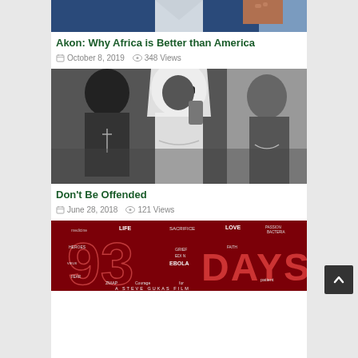[Figure (photo): Partial photo of a man in a suit at the top of the page]
Akon: Why Africa is Better than America
October 8, 2019   348 Views
[Figure (photo): Black and white photo of three men, one wearing white hood-like clothing and sunglasses]
Don't Be Offended
June 28, 2018   121 Views
[Figure (photo): Red movie poster for '93 Days' about Ebola, A Steve Gukas Film]